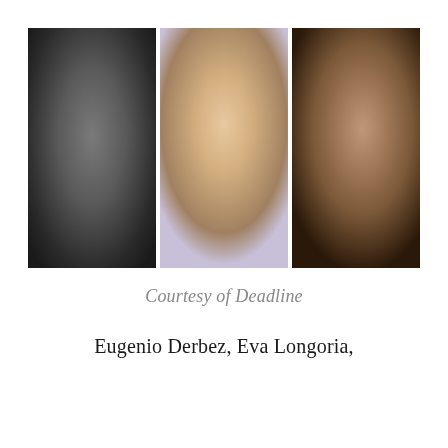[Figure (photo): Three side-by-side portrait photos: left is a man (Eugenio Derbez) in a black shirt with dark hair and beard against a dark background; center is a woman (Eva Longoria) with long dark hair wearing a white top with a necklace against a purple/light background; right is a woman with long dark hair, red lipstick, resting her hand near her face, wearing a floral outfit.]
Courtesy of Deadline
Eugenio Derbez, Eva Longoria,